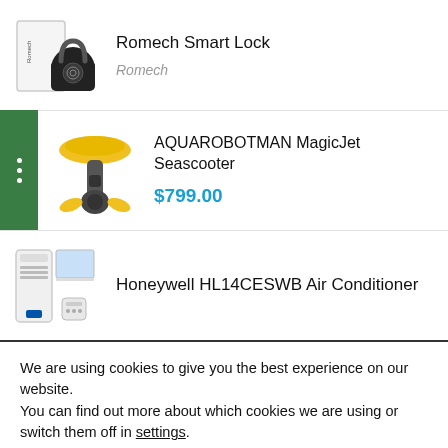[Figure (screenshot): Product listing page showing three items: Romech Smart Lock, AQUAROBOTMAN MagicJet Seascooter, and Honeywell HL14CESWB Air Conditioner]
Romech Smart Lock
Romech
AQUAROBOTMAN MagicJet Seascooter
$799.00
Honeywell HL14CESWB Air Conditioner
We are using cookies to give you the best experience on our website.
You can find out more about which cookies we are using or switch them off in settings.